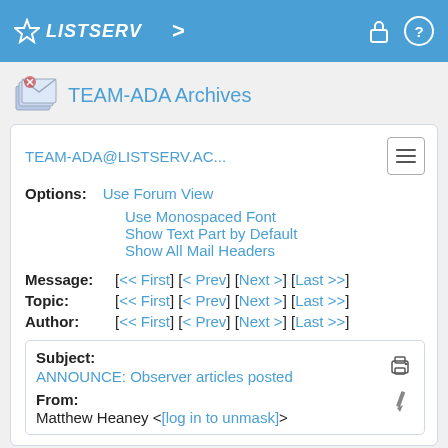LISTSERV
TEAM-ADA Archives
TEAM-ADA@LISTSERV.AC...
Options: Use Forum View
Use Monospaced Font
Show Text Part by Default
Show All Mail Headers
Message: [<< First] [< Prev] [Next >] [Last >>]
Topic: [<< First] [< Prev] [Next >] [Last >>]
Author: [<< First] [< Prev] [Next >] [Last >>]
Subject: ANNOUNCE: Observer articles posted
From: Matthew Heaney <[log in to unmask]>